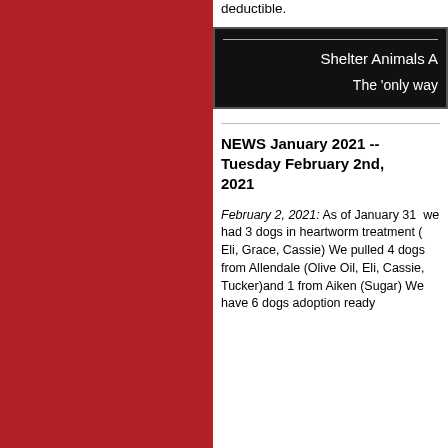deductible.
Shelter Animals A
The 'only way
NEWS January 2021 -- Tuesday February 2nd, 2021
February 2, 2021: As of January 31  we had 3 dogs in heartworm treatment ( Eli, Grace, Cassie) We pulled 4 dogs from Allendale (Olive Oil, Eli, Cassie, Tucker)and 1 from Aiken (Sugar) We have 6 dogs adoption ready